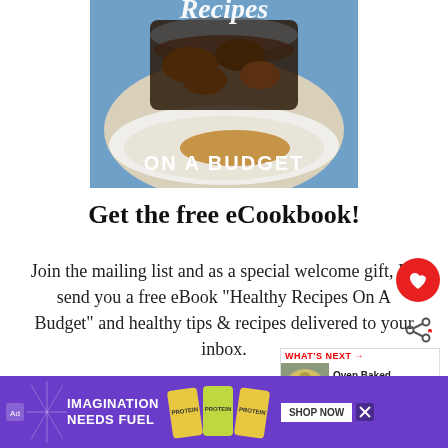[Figure (photo): Photo of a cookbook cover titled 'Recipes On A Budget' showing beef being poured over mashed potatoes in a white bowl, with text overlay 'ON A BUDGET' in white bold letters]
Get the free eCookbook!
Join the mailing list and as a special welcome gift, I'll send you a free eBook "Healthy Recipes On A Budget" and healthy tips & recipes delivered to your inbox.
[Figure (infographic): WHAT'S NEXT callout with thumbnail image and text: Oven Baked Curly Chees...]
[Figure (photo): Advertisement banner: IMAGINATION NEEDS FUEL - Clif bar protein snacks, SHOP NOW button, purple background]